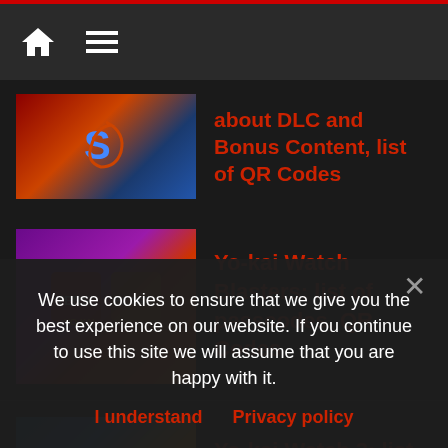Navigation bar with home and menu icons
about DLC and Bonus Content, list of QR Codes
Yo-kai Watch Blasters: list of passcodes, QR Codes
Yo-kai Watch 3: list of passwords / passcodes, QR Codes
Melty Blood: Type Lumina (Switch): Software
Pokémon Ultra Sun and Ultra Moon: all QR
We use cookies to ensure that we give you the best experience on our website. If you continue to use this site we will assume that you are happy with it.
I understand   Privacy policy